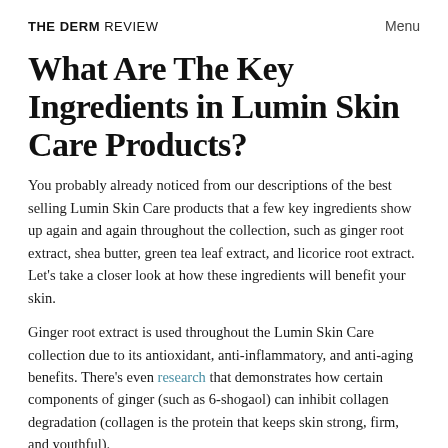THE DERM REVIEW   Menu
What Are The Key Ingredients in Lumin Skin Care Products?
You probably already noticed from our descriptions of the best selling Lumin Skin Care products that a few key ingredients show up again and again throughout the collection, such as ginger root extract, shea butter, green tea leaf extract, and licorice root extract. Let's take a closer look at how these ingredients will benefit your skin.
Ginger root extract is used throughout the Lumin Skin Care collection due to its antioxidant, anti-inflammatory, and anti-aging benefits. There's even research that demonstrates how certain components of ginger (such as 6-shogaol) can inhibit collagen degradation (collagen is the protein that keeps skin strong, firm, and youthful).